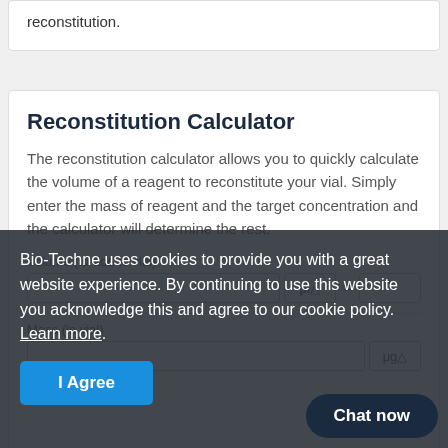reconstitution.
Reconstitution Calculator
The reconstitution calculator allows you to quickly calculate the volume of a reagent to reconstitute your vial. Simply enter the mass of reagent and the target concentration and the calculator will determine the rest.
Volume (to add to vial)
Bio-Techne uses cookies to provide you with a great website experience. By continuing to use this website you acknowledge this and agree to our cookie policy. Learn more.
I Agree
Mass (in vial)
mass
Chat now